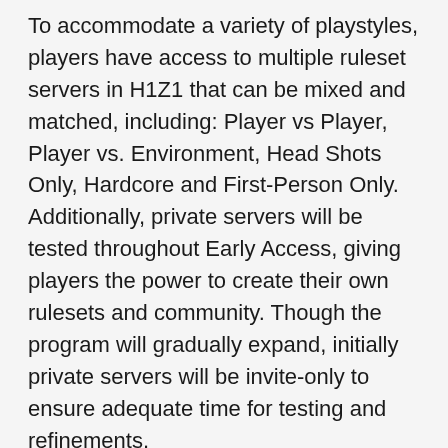To accommodate a variety of playstyles, players have access to multiple ruleset servers in H1Z1 that can be mixed and matched, including: Player vs Player, Player vs. Environment, Head Shots Only, Hardcore and First-Person Only. Additionally, private servers will be tested throughout Early Access, giving players the power to create their own rulesets and community. Though the program will gradually expand, initially private servers will be invite-only to ensure adequate time for testing and refinements.
SOE has also partnered with the creator of PLAYERUNKNOWN's Battle Royale, Brendan Greene, to license the extreme survival mod for a dedicated Battle Royale server in H1Z1. Offering a unique gameplay experience, Battle Royale plunges players into a bloody last man standing game-mode, where the only goal is to survive to the end.
It would be announced that the developer SOE stated that...